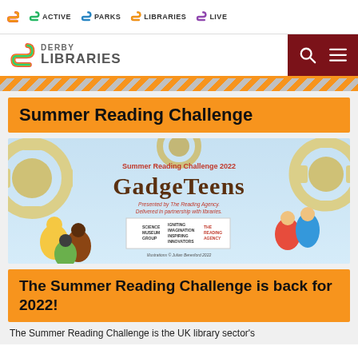ACTIVE | PARKS | LIBRARIES | LIVE — Derby Libraries
[Figure (logo): Derby Libraries logo with colourful S emblem, plus navigation icons for search and menu on dark red background]
Summer Reading Challenge
[Figure (illustration): Summer Reading Challenge 2022 GadgeTeens promotional banner with cartoon children and gear illustrations. Presented by The Reading Agency, delivered in partnership with libraries. Science Museum Group logo and The Reading Agency 20th anniversary logo.]
The Summer Reading Challenge is back for 2022!
The Summer Reading Challenge is the UK library sector's